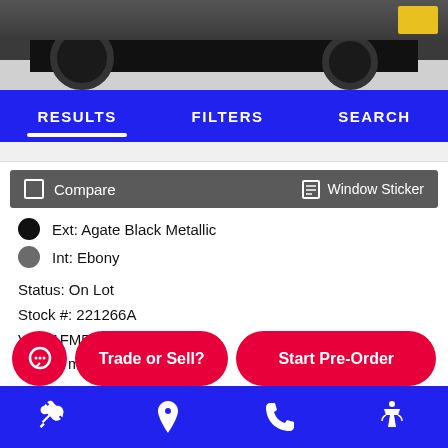[Figure (photo): Partial view of a black SUV vehicle from front/side angle, showing tires and lower body on a light background]
RESULTS   FILTERS   SEARCH
Compare   Window Sticker
Ext: Agate Black Metallic
Int: Ebony
Status: On Lot
Stock #: 221266A
VIN: 1FM5K8HC9LGA39576
22,812 mi.
Live Market Price:   $51,992
Trade or Sell?   Start Pre-Order